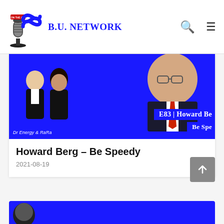B.U. Network
[Figure (screenshot): B.U. Network podcast logo with infinity symbol and microphone, blue color scheme]
[Figure (photo): Episode E83 Howard Berg - Be Speedy thumbnail showing two hosts (Dr Energy & RaRa) on the left and a guest in a suit on the right, blue background with episode title text]
Howard Berg – Be Speedy
2021-08-19
[Figure (photo): Partial view of another episode card at the bottom of the page]